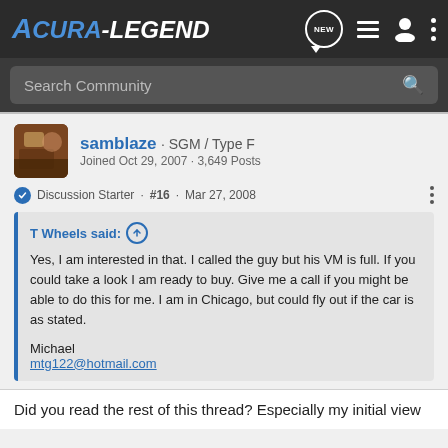Acura-Legend community forum header with navigation icons
Search Community
samblaze · SGM / Type F
Joined Oct 29, 2007 · 3,649 Posts
Discussion Starter · #16 · Mar 27, 2008
T Wheels said:
Yes, I am interested in that. I called the guy but his VM is full. If you could take a look I am ready to buy. Give me a call if you might be able to do this for me. I am in Chicago, but could fly out if the car is as stated.

Michael
mtg122@hotmail.com
Did you read the rest of this thread? Especially my initial view